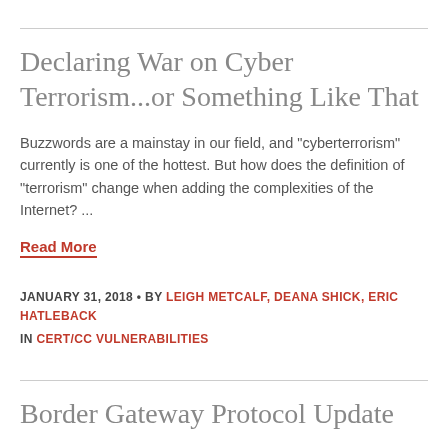Declaring War on Cyber Terrorism...or Something Like That
Buzzwords are a mainstay in our field, and "cyberterrorism" currently is one of the hottest. But how does the definition of "terrorism" change when adding the complexities of the Internet? ...
Read More
JANUARY 31, 2018 • BY LEIGH METCALF, DEANA SHICK, ERIC HATLEBACK
IN CERT/CC VULNERABILITIES
Border Gateway Protocol Update